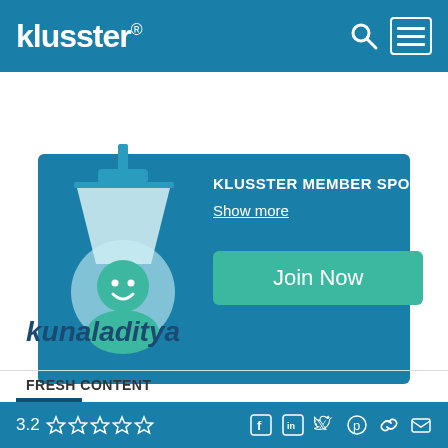klusster® [search] [menu]
[Figure (screenshot): Klusster Member Spotlight banner with avatar illustration, Show more link, and Join Now button on teal/dark blue background]
kunaladitya
FRESH CONTENT
Brazil Marine Lubricant Market Recent Trends, Business Opportunities to 2027
3.2 ☆☆☆☆☆ [facebook] [linkedin] [twitter] [pinterest] [link] [email]